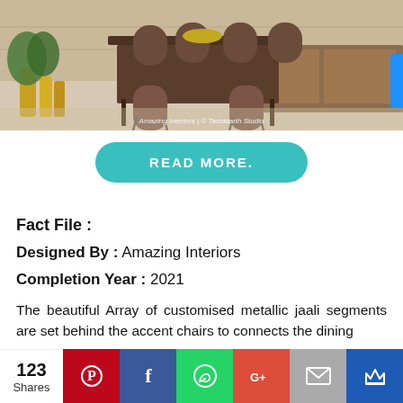[Figure (photo): Interior dining room photo showing a modern dining table with upholstered chairs, potted plant with gold pots, wooden sideboard, and light wood flooring. Watermark text: Amazing Interiors | © Tasbidarth Studio]
READ MORE.
Fact File :
Designed By : Amazing Interiors
Completion Year : 2021
The beautiful Array of customised metallic jaali segments are set behind the accent chairs to connects the dining
123 Shares | Pinterest | Facebook | WhatsApp | Google+ | Email | Crown